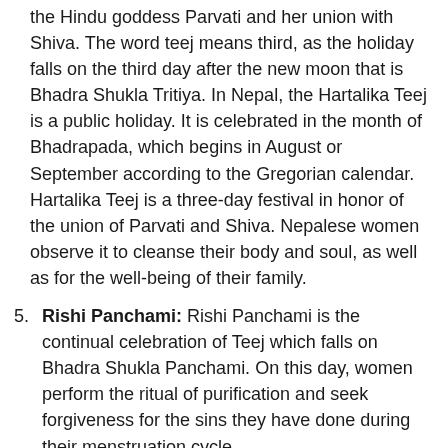the Hindu goddess Parvati and her union with Shiva. The word teej means third, as the holiday falls on the third day after the new moon that is Bhadra Shukla Tritiya. In Nepal, the Hartalika Teej is a public holiday. It is celebrated in the month of Bhadrapada, which begins in August or September according to the Gregorian calendar. Hartalika Teej is a three-day festival in honor of the union of Parvati and Shiva. Nepalese women observe it to cleanse their body and soul, as well as for the well-being of their family.
5. Rishi Panchami: Rishi Panchami is the continual celebration of Teej which falls on Bhadra Shukla Panchami. On this day, women perform the ritual of purification and seek forgiveness for the sins they have done during their menstruation cycle.
6. Kushe Aunsi: This is a celebration of Father's Day, known as Gokarna Aunshi, with the worship of